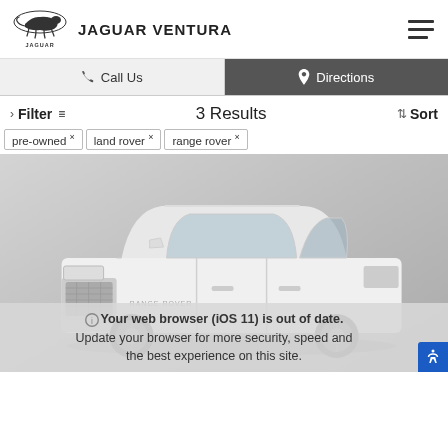[Figure (logo): Jaguar leaping cat logo with text JAGUAR VENTURA]
JAGUAR VENTURA
Call Us
Directions
Filter   3 Results   Sort
pre-owned ×    land rover ×    range rover ×
[Figure (photo): White Range Rover SUV on a grey gradient background]
Your web browser (iOS 11) is out of date. Update your browser for more security, speed and the best experience on this site.